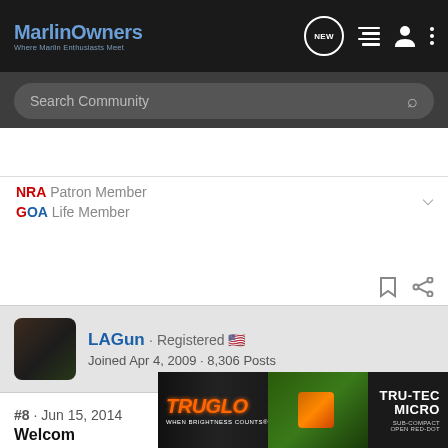MarlinOwners - Where Marlin Enthusiasts Meet
Search Community
NRA Patron Member
GOA Life Member
LAGun · Registered
Joined Apr 4, 2009 · 8,306 Posts
#8 · Jun 15, 2014
Welcom
[Figure (screenshot): TRUGLO TRU-TEC MICRO advertisement banner - When Brightness Counts]